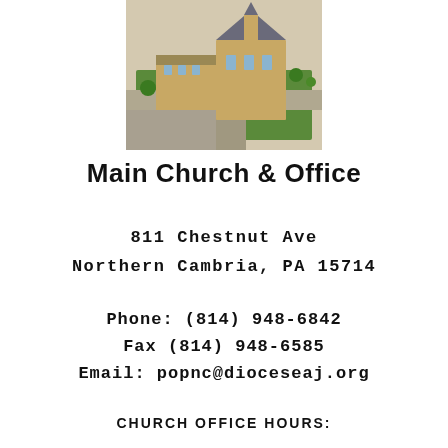[Figure (photo): Aerial view of a church building with tan/brick exterior and surrounding grounds with green grass]
Main Church & Office
811 Chestnut Ave
Northern Cambria, PA 15714
Phone: (814) 948-6842
Fax (814) 948-6585
Email: popnc@dioceseaj.org
CHURCH OFFICE HOURS: